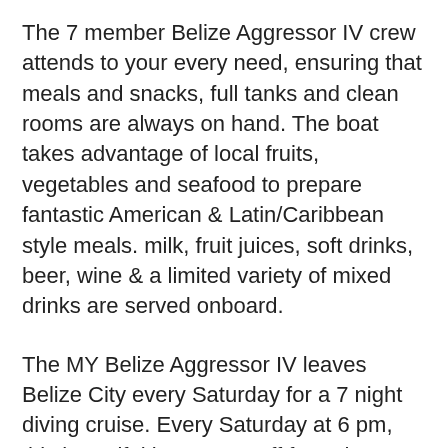The 7 member Belize Aggressor IV crew attends to your every need, ensuring that meals and snacks, full tanks and clean rooms are always on hand. The boat takes advantage of local fruits, vegetables and seafood to prepare fantastic American & Latin/Caribbean style meals. milk, fruit juices, soft drinks, beer, wine & a limited variety of mixed drinks are served onboard.
The MY Belize Aggressor IV leaves Belize City every Saturday for a 7 night diving cruise. Every Saturday at 6 pm, this beautiful boat casts off from the Radisson Ft. George dock, located in the heart of downtown Belize City for a week of hassle-free diving to Lighthouse Reef. Half